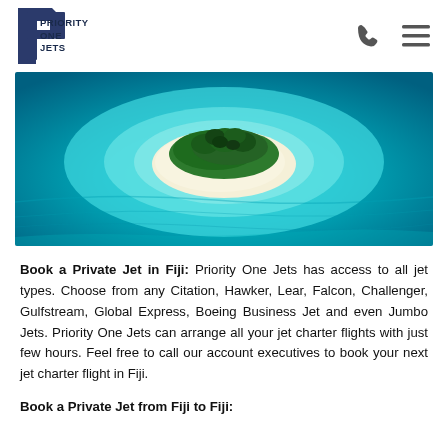PRIORITY ONE JETS
[Figure (photo): Aerial view of a small tropical island surrounded by turquoise blue ocean water, with white sand beaches and dense green vegetation on the island.]
Book a Private Jet in Fiji: Priority One Jets has access to all jet types. Choose from any Citation, Hawker, Lear, Falcon, Challenger, Gulfstream, Global Express, Boeing Business Jet and even Jumbo Jets. Priority One Jets can arrange all your jet charter flights with just few hours. Feel free to call our account executives to book your next jet charter flight in Fiji.
Book a Private Jet from Fiji to Fiji